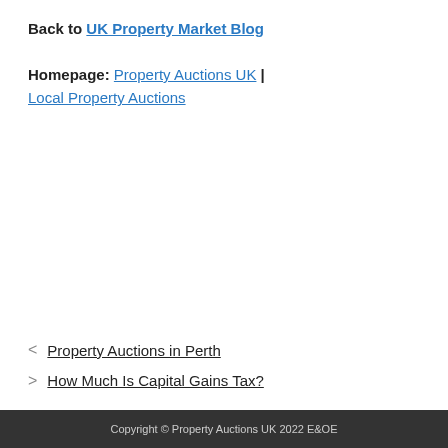Back to UK Property Market Blog
Homepage: Property Auctions UK | Local Property Auctions
< Property Auctions in Perth
> How Much Is Capital Gains Tax?
Copyright © Property Auctions UK 2022 E&OE